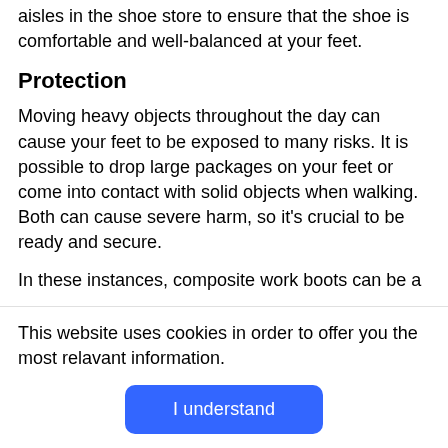aisles in the shoe store to ensure that the shoe is comfortable and well-balanced at your feet.
Protection
Moving heavy objects throughout the day can cause your feet to be exposed to many risks. It is possible to drop large packages on your feet or come into contact with solid objects when walking. Both can cause severe harm, so it's crucial to be ready and secure.
In these instances, composite work boots can be a
This website uses cookies in order to offer you the most relavant information.